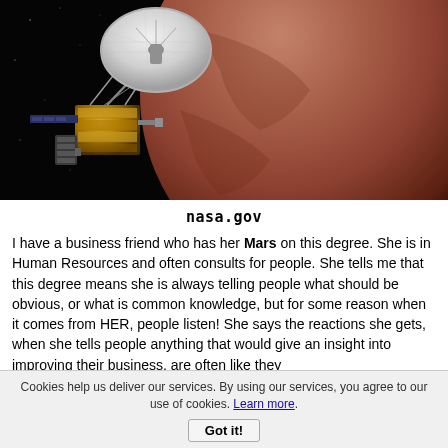[Figure (photo): NASA spacecraft (New Horizons) with gold foil body and large white dish antenna, approaching a large reddish-brown planet (Pluto) against dark space background]
nasa.gov
I have a business friend who has her Mars on this degree. She is in Human Resources and often consults for people. She tells me that this degree means she is always telling people what should be obvious, or what is common knowledge, but for some reason when it comes from HER, people listen! She says the reactions she gets, when she tells people anything that would give an insight into improving their business, are often like they
Cookies help us deliver our services. By using our services, you agree to our use of cookies. Learn more. Got it!